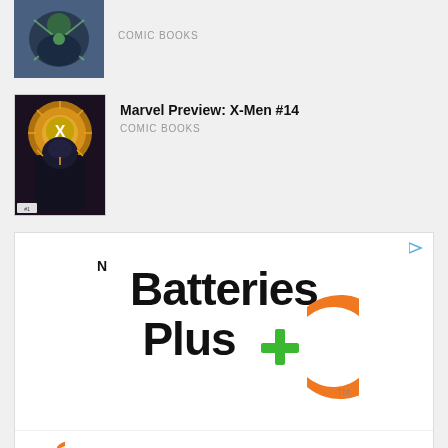[Figure (screenshot): Partial comic book thumbnail at top of page (cropped)]
COMIC BOOKS
[Figure (illustration): X-Men #14 comic book cover thumbnail showing a large dark figure with glowing X symbol]
Marvel Preview: X-Men #14
COMIC BOOKS
[Figure (screenshot): Batteries Plus advertisement banner with large bold text logo, brand icon row, and location row showing Batteries Plus Bulbs in Ashburn 8AM-7PM]